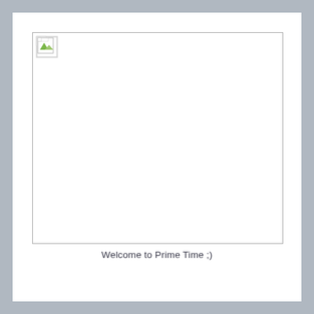[Figure (photo): Broken/missing image placeholder with small broken image icon in top-left corner, large white rectangular area with thin gray border]
Welcome to Prime Time ;)